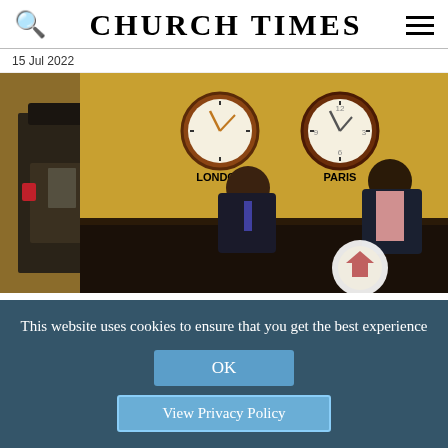CHURCH TIMES
15 Jul 2022
[Figure (photo): Hotel or office reception desk scene with two men in dark suits seated behind a black reception counter, and a security guard in tactical gear standing to the left. Two clocks on a yellow wall behind the desk are labeled LONDON and PARIS.]
This website uses cookies to ensure that you get the best experience
OK
View Privacy Policy